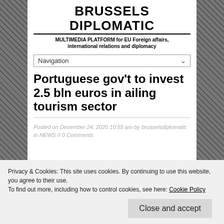BRUSSELS DIPLOMATIC
MULTIMEDIA PLATFORM for EU Foreign affairs, international relations and diplomacy
Navigation
Portuguese gov't to invest 2.5 bln euros in ailing tourism sector
Posted on December 24, 2020 10:55 am by brusselsdiplomatic in NEWS // 0 Comments
Privacy & Cookies: This site uses cookies. By continuing to use this website, you agree to their use.
To find out more, including how to control cookies, see here: Cookie Policy
Close and accept